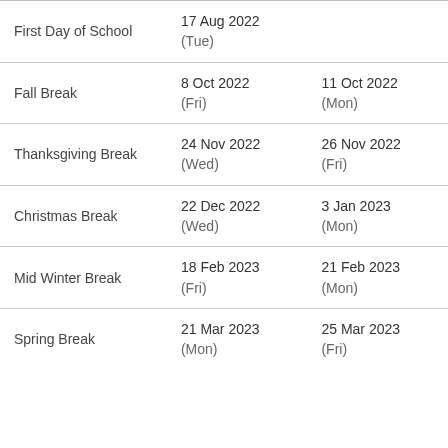| Event | Start | End |
| --- | --- | --- |
| First Day of School | 17 Aug 2022 (Tue) |  |
| Fall Break | 8 Oct 2022 (Fri) | 11 Oct 2022 (Mon) |
| Thanksgiving Break | 24 Nov 2022 (Wed) | 26 Nov 2022 (Fri) |
| Christmas Break | 22 Dec 2022 (Wed) | 3 Jan 2023 (Mon) |
| Mid Winter Break | 18 Feb 2023 (Fri) | 21 Feb 2023 (Mon) |
| Spring Break | 21 Mar 2023 (Mon) | 25 Mar 2023 (Fri) |